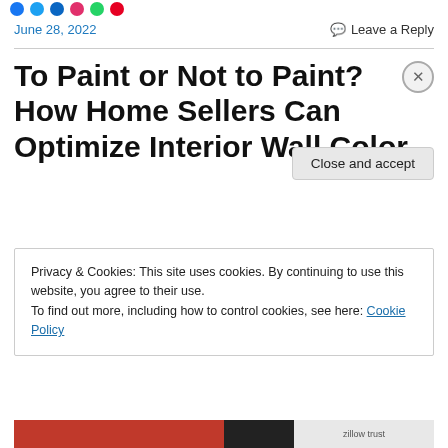June 28, 2022  Leave a Reply
To Paint or Not to Paint? How Home Sellers Can Optimize Interior Wall Color
Privacy & Cookies: This site uses cookies. By continuing to use this website, you agree to their use.
To find out more, including how to control cookies, see here: Cookie Policy
Close and accept